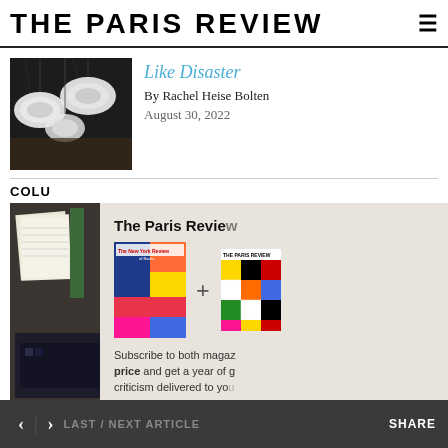THE PARIS REVIEW
[Figure (photo): Overhead view of white circular light fixtures or plates on dark background]
Like Disaster
By Rachel Heise Bolten
August 30, 2022
COLU
[Figure (photo): Second article thumbnail showing papers/documents]
[Figure (infographic): Subscription overlay showing The New York Review and The Paris Review magazine covers with plus sign and Subscribe Now button. Text: The Paris Review — Subscribe to both magazines at one price and get a year of great fiction, poetry, and criticism delivered to your door.]
< | > LAST / NEXT ARTICLE    SHARE